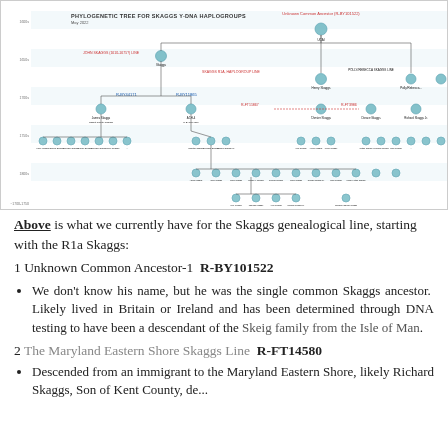[Figure (organizational-chart): Phylogenetic tree for Skaggs Y-DNA Haplogroups, May 2022. Shows branching lineage from Unknown Common Ancestor R-BY101522 at top, with multiple descendant lines including R-FT14580 Maryland Eastern Shore Skaggs Line and other haplogroup branches. Nodes represented as circular portrait icons with name labels. Red dashed lines indicate uncertain/estimated connections.]
Above is what we currently have for the Skaggs genealogical line, starting with the R1a Skaggs:
1 Unknown Common Ancestor-1  R-BY101522
We don't know his name, but he was the single common Skaggs ancestor.  Likely lived in Britain or Ireland and has been determined through DNA testing to have been a descendant of the Skeig family from the Isle of Man.
2 The Maryland Eastern Shore Skaggs Line  R-FT14580
Descended from an immigrant to the Maryland Eastern Shore, likely Richard Skaggs, Son of Kent County, de...